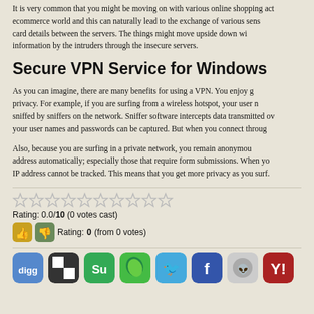It is very common that you might be moving on with various online shopping activities in ecommerce world and this can naturally lead to the exchange of various sensitive credit card details between the servers. The things might move upside down with capturing of information by the intruders through the insecure servers.
Secure VPN Service for Windows
As you can imagine, there are many benefits for using a VPN. You enjoy greater privacy. For example, if you are surfing from a wireless hotspot, your user names can be sniffed by sniffers on the network. Sniffer software intercepts data transmitted over wifi and your user names and passwords can be captured. But when you connect through a VPN,
Also, because you are surfing in a private network, you remain anonymous. Websites log your IP address automatically; especially those that require form submissions. When you use a VPN, your IP address cannot be tracked. This means that you get more privacy as you surf.
Rating: 0.0/10 (0 votes cast)
Rating: 0 (from 0 votes)
[Figure (infographic): Social sharing icons row: digg, ShareThis/checkered, StumbleUpon, GreenDot/leaf, Twitter bird, Facebook f, Reddit alien, Yahoo Y]